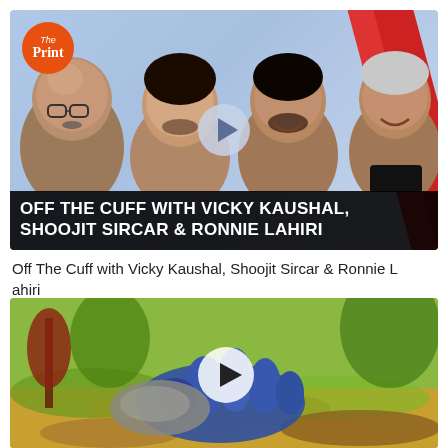[Figure (screenshot): Video thumbnail for 'Off The Cuff with Vicky Kaushal, Shoojit Sircar & Ronnie Lahiri' on The Print channel. Shows four men on a light blue background with red diagonal stripes. A play button is centered. The Print logo (orange circle) is top left. Bold white text on black bar at bottom reads: OFF THE CUFF WITH VICKY KAUSHAL, SHOOJIT SIRCAR & RONNIE LAHIRI]
Off The Cuff with Vicky Kaushal, Shoojit Sircar & Ronnie L ahiri
[Figure (screenshot): Video thumbnail showing a nature/game scene with greenery, a gloved hand, and a play button overlay.]